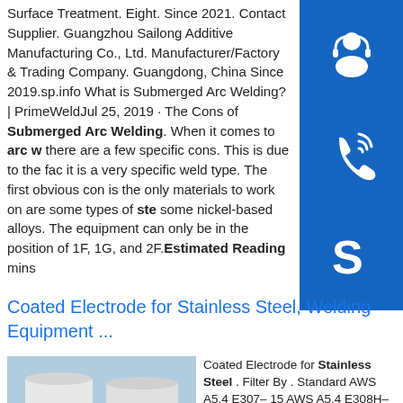Surface Treatment. Eight. Since 2021. Contact Supplier. Guangzhou Sailong Additive Manufacturing Co., Ltd. Manufacturer/Factory & Trading Company. Guangdong, China Since 2019.sp.info What is Submerged Arc Welding? | PrimeWeldJul 25, 2019 · The Cons of Submerged Arc Welding. When it comes to arc w there are a few specific cons. This is due to the fact it is a very specific weld type. The first obvious con is the only materials to work on are some types of ste some nickel-based alloys. The equipment can only be in the position of 1F, 1G, and 2F. Estimated Reading mins
[Figure (other): Three blue square icon buttons stacked vertically on the right sidebar: headset/customer support icon, phone/call icon, and Skype icon. All icons are white on blue background.]
Coated Electrode for Stainless Steel, Welding Equipment ...
[Figure (photo): Photo of two large white industrial storage tanks outdoors, labeled 101 and 106, against a blue sky.]
Coated Electrode for Stainless Steel . Filter By . Standard AWS A5.4 E307–15 AWS A5.4 E308H–16 ... PRICE. Manufacturer AWS ...